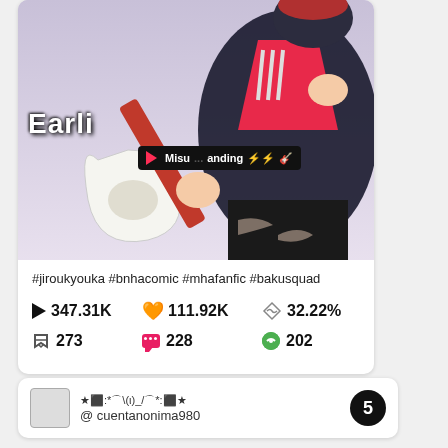[Figure (screenshot): TikTok analytics card showing an anime character playing guitar (My Hero Academia fan art) with overlay text 'Earli' and a tooltip showing 'Misu...anding' with lightning emojis and a play button]
#jiroukyouka #bnhacomic #mhafanfic #bakusquad
▶ 347.31K   👍111.92K   🔁32.22%
⬇273   💬228   🟢202
★⬛:*⌒\(ι)_/⌒*:⬛★
@ cuentanonima980
5